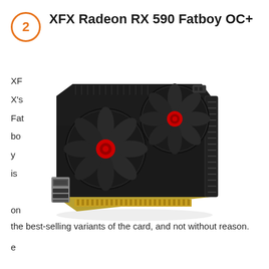XFX Radeon RX 590 Fatboy OC+
[Figure (photo): XFX Radeon RX 590 Fatboy OC+ graphics card with dual fans featuring red center caps, black shroud, and gold/copper colored PCB edge with display outputs]
XFX's Fatboy is one of the best-selling variants of the card, and not without reason.